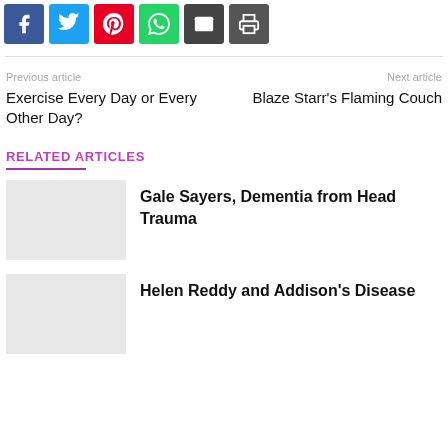[Figure (other): Social sharing buttons: Facebook, Twitter, Pinterest, WhatsApp, Email, Print]
Previous article
Exercise Every Day or Every Other Day?
Next article
Blaze Starr's Flaming Couch
RELATED ARTICLES
Gale Sayers, Dementia from Head Trauma
Helen Reddy and Addison's Disease